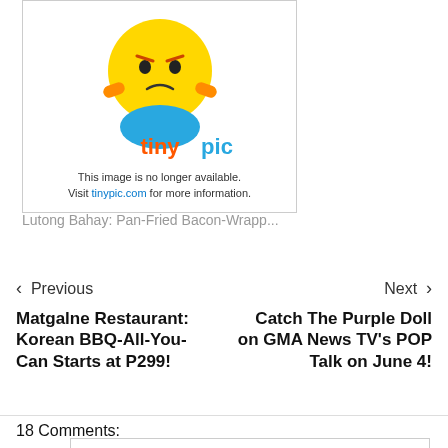[Figure (illustration): Tinypic broken image placeholder: yellow cartoon mascot with arms crossed and frowning, colorful 'tinypic' logo, text saying 'This image is no longer available. Visit tinypic.com for more information.']
Lutong Bahay: Pan-Fried Bacon-Wrapp...
< Previous   Next >
Matgalne Restaurant: Korean BBQ-All-You-Can Starts at P299!
Catch The Purple Doll on GMA News TV's POP Talk on June 4!
18 Comments:
Sodium Erythorbate *nom nom nom nom*
June 2, 2013 at 11:28 PM
NomNomNom!Try  their  Old  English...